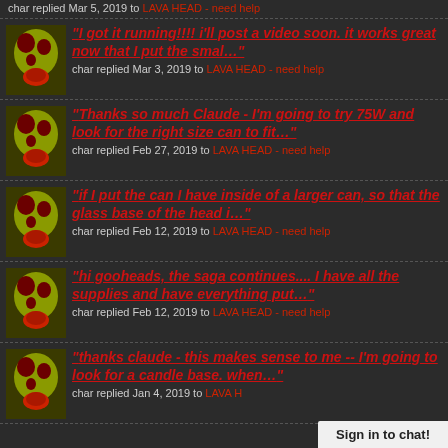char replied Mar 5, 2019 to LAVA HEAD - need help
"I got it running!!!!  i'll post a video soon. it works great now that I put the smal…" char replied Mar 3, 2019 to LAVA HEAD - need help
"Thanks so much Claude - I'm going to try 75W and look for the right size can to fit…" char replied Feb 27, 2019 to LAVA HEAD - need help
"if I put the can I have inside of a larger can, so that the glass base of the head i…" char replied Feb 12, 2019 to LAVA HEAD - need help
"hi gooheads, the saga continues.... I have all the supplies and have everything put…" char replied Feb 12, 2019 to LAVA HEAD - need help
"thanks claude - this makes sense to me -- I'm going to look for a candle base. when…" char replied Jan 4, 2019 to LAVA HEAD - need help
Sign in to chat!